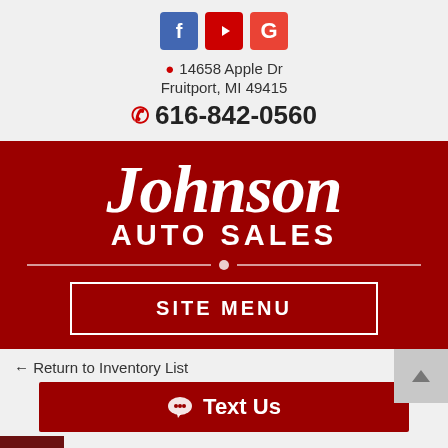[Figure (logo): Social media icons: Facebook (blue f), YouTube (red play button), Google (red G)]
14658 Apple Dr
Fruitport, MI 49415
616-842-0560
[Figure (logo): Johnson Auto Sales logo on dark red background with site menu button]
SITE MENU
← Return to Inventory List
Text Us